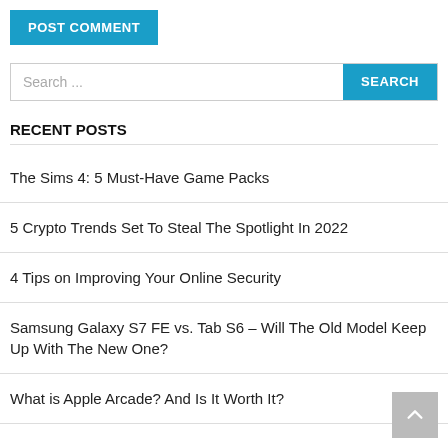[Figure (screenshot): POST COMMENT button — teal/blue background with white bold text]
[Figure (screenshot): Search bar with placeholder text 'Search ...' and a teal SEARCH button]
RECENT POSTS
The Sims 4: 5 Must-Have Game Packs
5 Crypto Trends Set To Steal The Spotlight In 2022
4 Tips on Improving Your Online Security
Samsung Galaxy S7 FE vs. Tab S6 – Will The Old Model Keep Up With The New One?
What is Apple Arcade? And Is It Worth It?